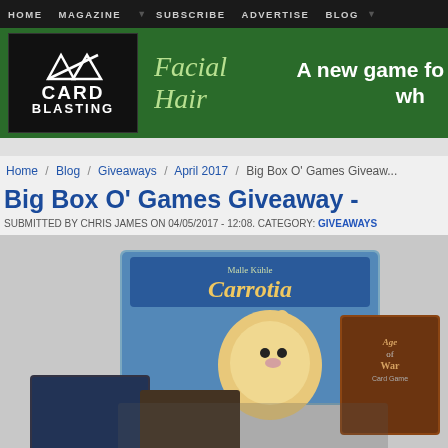HOME / MAGAZINE / SUBSCRIBE / ADVERTISE / BLOG
[Figure (illustration): Card Blasting banner advertisement featuring 'Facial Hair' game. Logo on left on black background, green banner with stylized text 'Facial Hair' and tagline 'A new game fo... wh...']
Home / Blog / Giveaways / April 2017 / Big Box O' Games Giveaw...
Big Box O' Games Giveaway -
SUBMITTED BY CHRIS JAMES ON 04/05/2017 - 12:08. CATEGORY: GIVEAWAYS
[Figure (photo): Photo of board game boxes including Carrotia (featuring cartoon rabbit character) and Age of War Card Game, stacked together on a light background.]